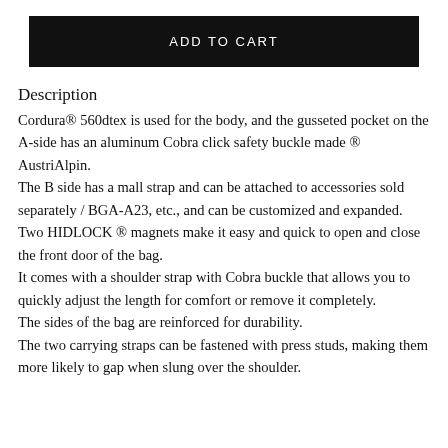[Figure (other): ADD TO CART button — black rectangular button with white uppercase text]
Description
Cordura® 560dtex is used for the body, and the gusseted pocket on the A-side has an aluminum Cobra click safety buckle made ® AustriAlpin.
The B side has a mall strap and can be attached to accessories sold separately / BGA-A23, etc., and can be customized and expanded.
Two HIDLOCK ® magnets make it easy and quick to open and close the front door of the bag.
It comes with a shoulder strap with Cobra buckle that allows you to quickly adjust the length for comfort or remove it completely.
The sides of the bag are reinforced for durability.
The two carrying straps can be fastened with press studs, making them more likely to gap when slung over the shoulder.